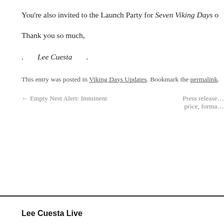You’re also invited to the Launch Party for Seven Viking Days o…
Thank you so much,
.     Lee Cuesta     .
This entry was posted in Viking Days Updates. Bookmark the permalink.
← Empty Nest Alert: Imminent
Press release… price, forma…
Lee Cuesta Live